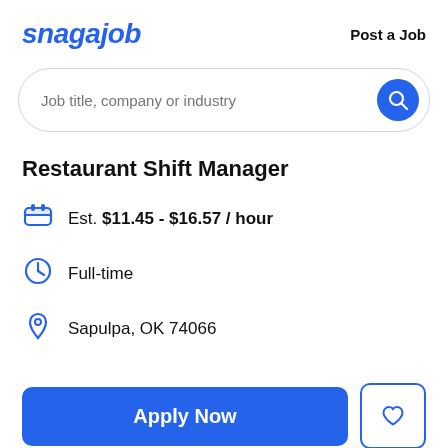snagajob   Post a Job
[Figure (screenshot): Search bar with placeholder text 'Job title, company or industry' and a blue circular search button]
Restaurant Shift Manager
Est. $11.45 - $16.57 / hour
Full-time
Sapulpa, OK 74066
Apply Now